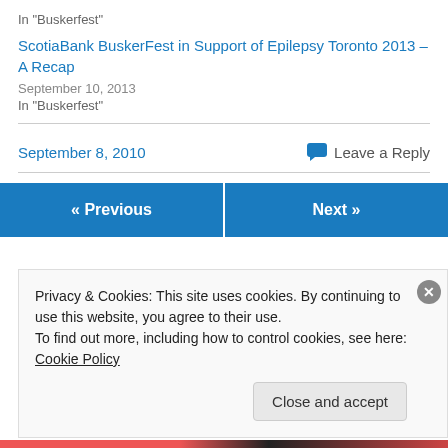In "Buskerfest"
ScotiaBank BuskerFest in Support of Epilepsy Toronto 2013 – A Recap
September 10, 2013
In "Buskerfest"
September 8, 2010
Leave a Reply
« Previous
Next »
Privacy & Cookies: This site uses cookies. By continuing to use this website, you agree to their use.
To find out more, including how to control cookies, see here: Cookie Policy
Close and accept